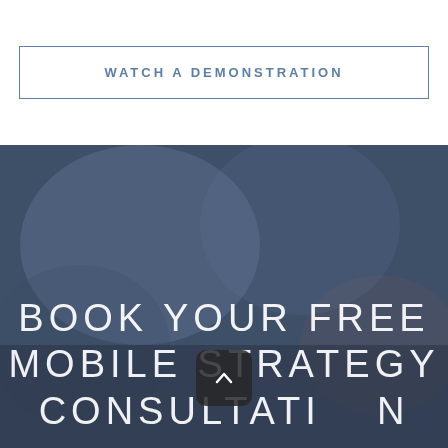WATCH A DEMONSTRATION
[Figure (photo): Dark blue-toned blurred background photo of a person using a mobile device, overlaid with large white text]
BOOK YOUR FREE MOBILE STRATEGY CONSULTATION